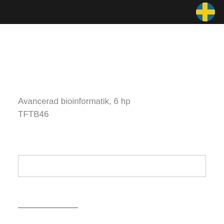[Figure (logo): Swedish flag circular icon in the black header bar, top right]
Avancerad bioinformatik, 6 hp
TFTB46
|  |